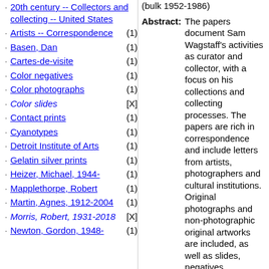20th century -- Collectors and collecting -- United States
Artists -- Correspondence (1)
Basen, Dan (1)
Cartes-de-visite (1)
Color negatives (1)
Color photographs (1)
Color slides [X]
Contact prints (1)
Cyanotypes (1)
Detroit Institute of Arts (1)
Gelatin silver prints (1)
Heizer, Michael, 1944- (1)
Mapplethorpe, Robert (1)
Martin, Agnes, 1912-2004 (1)
Morris, Robert, 1931-2018 [X]
Newton, Gordon, 1948- (1)
(bulk 1952-1986)
Abstract: The papers document Sam Wagstaff's activities as curator and collector, with a focus on his collections and collecting processes. The papers are rich in correspondence and include letters from artists, photographers and cultural institutions. Original photographs and non-photographic original artworks are included, as well as slides, negatives